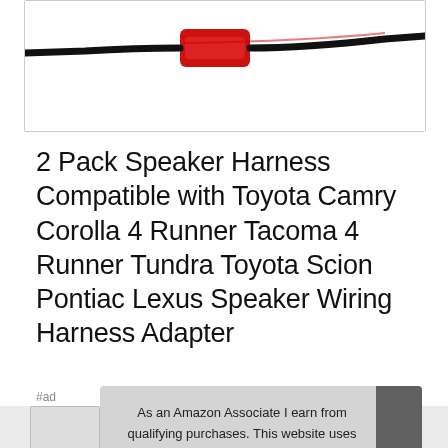[Figure (photo): Product photo showing a red and black speaker wiring harness adapter connector cable against a white background, partially cropped at top]
2 Pack Speaker Harness Compatible with Toyota Camry Corolla 4 Runner Tacoma 4 Runner Tundra Toyota Scion Pontiac Lexus Speaker Wiring Harness Adapter
#ad
As an Amazon Associate I earn from qualifying purchases. This website uses the only necessary cookies to ensure you get the best experience on our website. More information